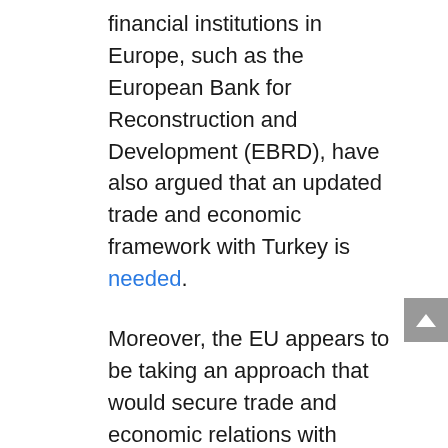financial institutions in Europe, such as the European Bank for Reconstruction and Development (EBRD), have also argued that an updated trade and economic framework with Turkey is needed.
Moreover, the EU appears to be taking an approach that would secure trade and economic relations with Turkey, while adhering to EU neighboring states' policy interests. For example, the press release that followed the October 2020 EU Council (EUCO) meeting, did not mention Turkey's human rights violations, instead it referred exclusively to its geopolitical conflict with Greece and Cyprus. For the first time, the EU held a compromise agenda with Turkey by overlooking its domestic issues and